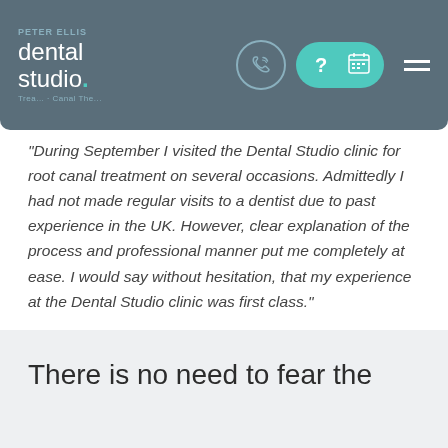dental studio. — navigation header with phone, help, calendar icons
"During September I visited the Dental Studio clinic for root canal treatment on several occasions. Admittedly I had not made regular visits to a dentist due to past experience in the UK. However, clear explanation of the process and professional manner put me completely at ease. I would say without hesitation, that my experience at the Dental Studio clinic was first class."
There is no need to fear the